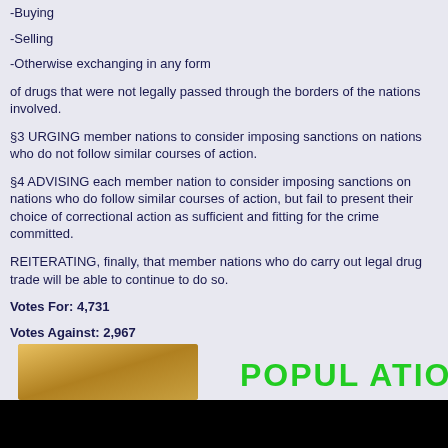-Buying
-Selling
-Otherwise exchanging in any form
of drugs that were not legally passed through the borders of the nations involved.
§3 URGING member nations to consider imposing sanctions on nations who do not follow similar courses of action.
§4 ADVISING each member nation to consider imposing sanctions on nations who do follow similar courses of action, but fail to present their choice of correctional action as sufficient and fitting for the crime committed.
REITERATING, finally, that member nations who do carry out legal drug trade will be able to continue to do so.
Votes For: 4,731
Votes Against: 2,967
Voting Ends: Thu Nov 29 2007
[Figure (photo): Partial image showing a golden/brown object on the left and green text reading POPULATION on the right, on a light background]